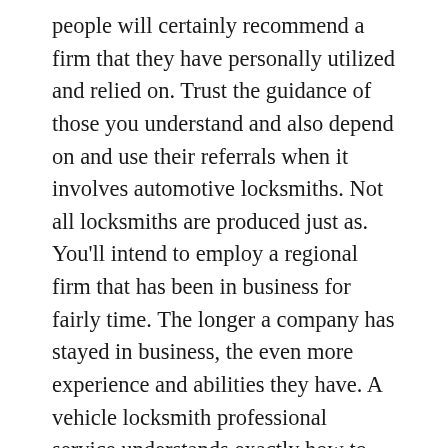people will certainly recommend a firm that they have personally utilized and relied on. Trust the guidance of those you understand and also depend on and use their referrals when it involves automotive locksmiths. Not all locksmiths are produced just as. You'll intend to employ a regional firm that has been in business for fairly time. The longer a company has stayed in business, the even more experience and abilities they have. A vehicle locksmith professional service understands exactly how to handle a wide variety of vehicle locks in addition to auto accessories as well as the type of devices made use of to open them. They know with the various keys for the different kinds of cars and know exactly how to make modifications to the locking mechanisms